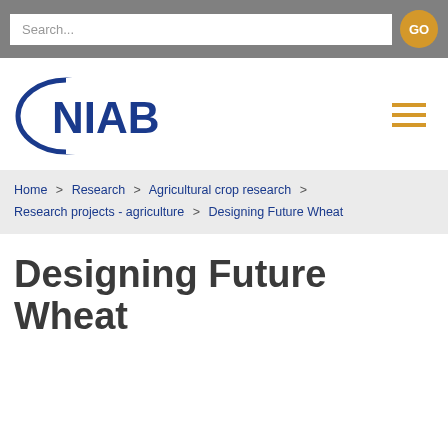Search...  GO
[Figure (logo): NIAB organization logo — blue ellipse with NIAB text in bold blue letters]
Home > Research > Agricultural crop research > Research projects - agriculture > Designing Future Wheat
Designing Future Wheat